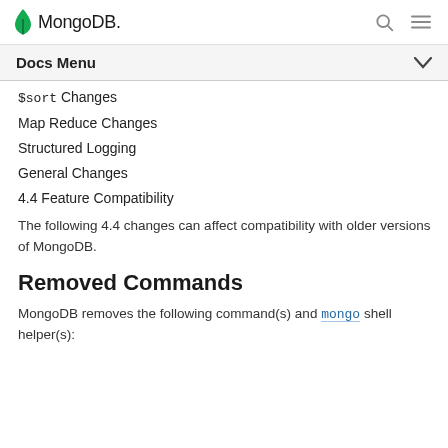MongoDB
$sort Changes
Map Reduce Changes
Structured Logging
General Changes
4.4 Feature Compatibility
The following 4.4 changes can affect compatibility with older versions of MongoDB.
Removed Commands
MongoDB removes the following command(s) and mongo shell helper(s):